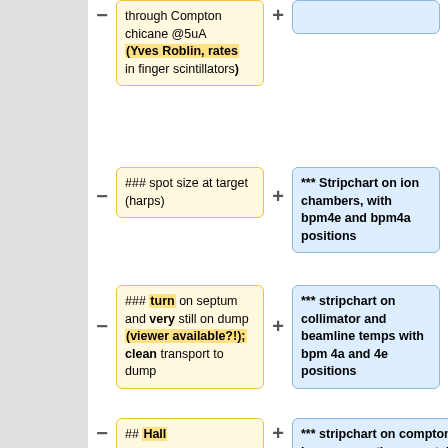through Compton chicane @5uA (Yves Roblin, rates in finger scintillators)
*** Stripchart on ion chambers, with bpm4e and bpm4a positions
### spot size at target (harps)
*** Stripchart on ion chambers, with bpm4e and bpm4a positions
### turn on septum and very still on dump (viewer available?!); clean transport to dump
*** stripchart on collimator and beamline temps with bpm 4a and 4e positions
## Hall
*** stripchart on compton rates (with beam current) <span style="color:red"> no more 2x what is present in [https://logbooks.jlab.org/entry/368797 77